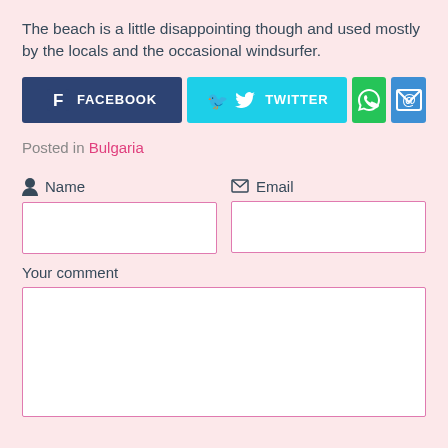The beach is a little disappointing though and used mostly by the locals and the occasional windsurfer.
[Figure (infographic): Social share buttons row: Facebook (dark blue), Twitter (cyan), WhatsApp (green), Email (blue)]
Posted in Bulgaria
Name
Email
Your comment